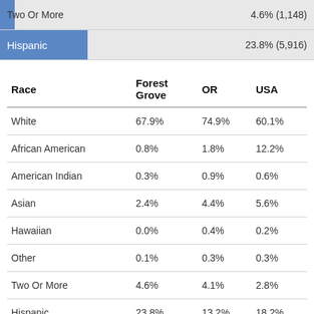[Figure (infographic): Horizontal bar for Two Or More race showing 4.6% (1,148) on light gray background]
[Figure (infographic): Horizontal bar for Hispanic showing 23.8% (5,916) with blue fill approximately 28% of width]
| Race | Forest Grove | OR | USA |
| --- | --- | --- | --- |
| White | 67.9% | 74.9% | 60.1% |
| African American | 0.8% | 1.8% | 12.2% |
| American Indian | 0.3% | 0.9% | 0.6% |
| Asian | 2.4% | 4.4% | 5.6% |
| Hawaiian | 0.0% | 0.4% | 0.2% |
| Other | 0.1% | 0.3% | 0.3% |
| Two Or More | 4.6% | 4.1% | 2.8% |
| Hispanic | 23.8% | 13.2% | 18.2% |